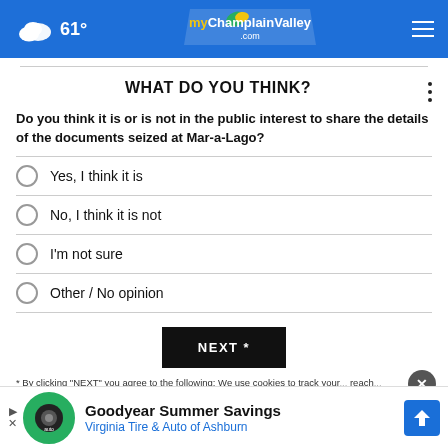61° myChamplainValley.com
WHAT DO YOU THINK?
Do you think it is or is not in the public interest to share the details of the documents seized at Mar-a-Lago?
Yes, I think it is
No, I think it is not
I'm not sure
Other / No opinion
NEXT *
* By clicking "NEXT" you agree to the following: We use cookies to track your... reach...
[Figure (infographic): Goodyear Summer Savings advertisement: Virginia Tire & Auto of Ashburn, with tire logo and blue arrow road sign]